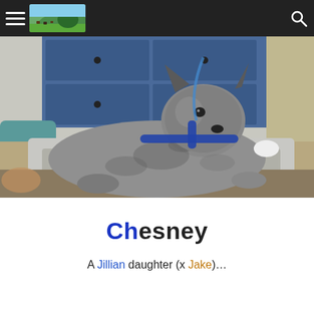[Figure (photo): A blue heeler / Australian cattle dog lying on a bed with blankets, wearing a blue harness. Blue dresser in background. Wide-angle photo taken indoors.]
Chesney
A Jillian daughter (x Jake)…